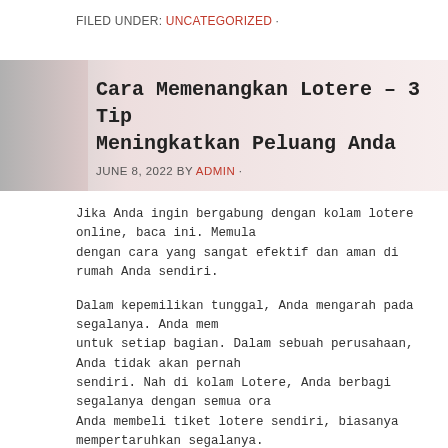FILED UNDER: UNCATEGORIZED ·
Cara Memenangkan Lotere – 3 Tips Meningkatkan Peluang Anda
JUNE 8, 2022 BY ADMIN ·
Jika Anda ingin bergabung dengan kolam lotere online, baca ini. Memula dengan cara yang sangat efektif dan aman di rumah Anda sendiri.
Dalam kepemilikan tunggal, Anda mengarah pada segalanya. Anda mem untuk setiap bagian. Dalam sebuah perusahaan, Anda tidak akan pernah sendiri. Nah di kolam Lotere, Anda berbagi segalanya dengan semua ora Anda membeli tiket lotere sendiri, biasanya mempertaruhkan segalanya.
Jawabannya adalah kekalahan YA! Siapa pun mungkin memiliki semua p untuk menjadi pemenang yang pasti dan bersertifikat dalam proses lotere yang tepat Anda dapat memanfaatkan Lotere Online, Anda dapat mening untuk menang lagi dan lagi tak terhitung jumlahnya dan 50 persen lebih b sumber daya dan panduan yang tepat yang Anda temukan dalam perang premium yang mengungkapkan rahasia berharga untuk menjadi pemenang